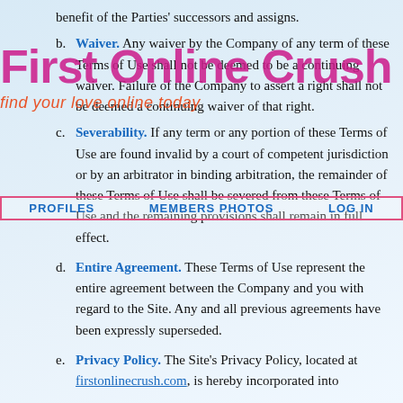[Figure (logo): First Online Crush logo watermark overlay with tagline 'find your love online today']
PROFILES   MEMBERS PHOTOS   LOG IN
benefit of the Parties' successors and assigns.
b. Waiver. Any waiver by the Company of any term of these Terms of Use shall not be deemed to be a continuing waiver. Failure of the Company to assert a right shall not be deemed a continuing waiver of that right.
c. Severability. If any term or any portion of these Terms of Use are found invalid by a court of competent jurisdiction or by an arbitrator in binding arbitration, the remainder of these Terms of Use shall be severed from these Terms of Use and the remaining provisions shall remain in full effect.
d. Entire Agreement. These Terms of Use represent the entire agreement between the Company and you with regard to the Site. Any and all previous agreements have been expressly superseded.
e. Privacy Policy. The Site's Privacy Policy, located at firstonlinecrush.com, is hereby incorporated into